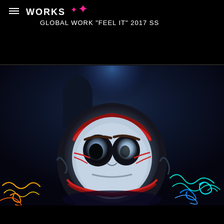≡ WORKS ✦ ✦ GLOBAL WORK "FEEL IT" 2017 SS
[Figure (photo): A large decorative daruma doll in dark blue and red tones, illuminated from behind with a blue glow, surrounded by colorful neon light painting trails (yellow, orange, cyan, blue) at the bottom edges. Shot in a dark studio setting.]